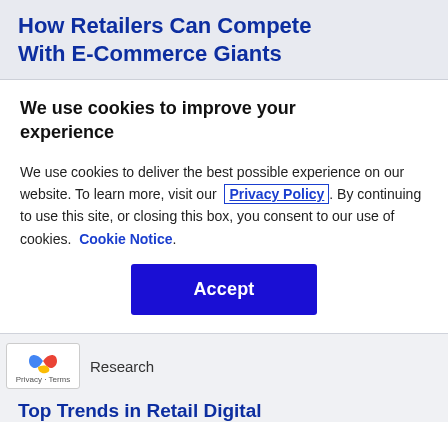How Retailers Can Compete With E-Commerce Giants
We use cookies to improve your experience
We use cookies to deliver the best possible experience on our website. To learn more, visit our Privacy Policy. By continuing to use this site, or closing this box, you consent to our use of cookies. Cookie Notice.
Accept
Research
Top Trends in Retail Digital